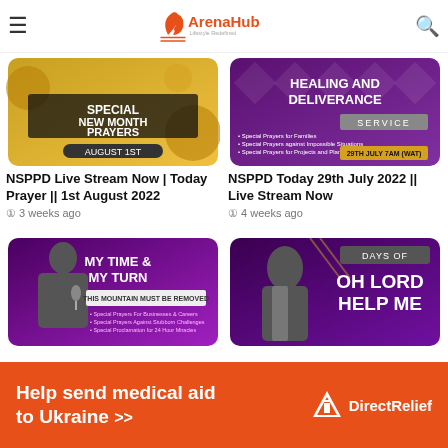ArenaHub — Lifestyle Redefined
Related Articles
[Figure (photo): NSPPD Special New Month Prayers August 1st promotional banner with gold and black theme]
NSPPD Live Stream Now | Today Prayer || 1st August 2022
3 weeks ago
[Figure (photo): NSPPD healing and deliverance service promotional banner, 29th July, purple theme]
NSPPD Today 29th July 2022 || Live Stream Now
4 weeks ago
[Figure (photo): My Time & My Turn - This Mountain Must Be Removed, purple theme with man singing]
[Figure (photo): 7 Days of Oh Lord Help Me, purple theme with man looking up]
[Figure (other): Direct Relief advertisement banner: Help send medical aid to Ukraine]